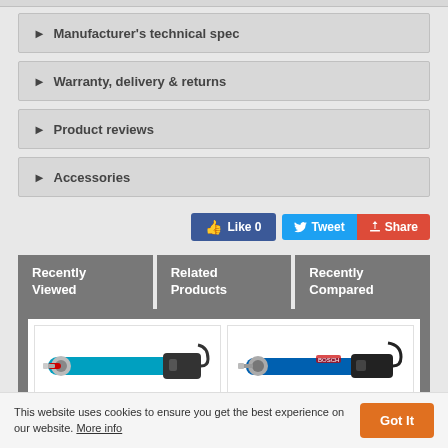▶ Manufacturer's technical spec
▶ Warranty, delivery & returns
▶ Product reviews
▶ Accessories
Like 0   Tweet   Share
Recently Viewed
Related Products
Recently Compared
[Figure (photo): Two power grinder/die grinder tools shown side by side in product cards]
This website uses cookies to ensure you get the best experience on our website. More info   Got It